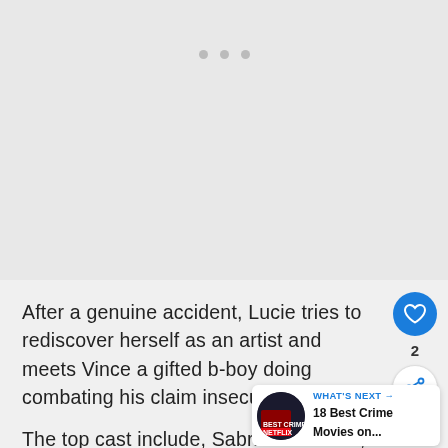[Figure (other): Gray placeholder area with three dots (carousel indicator) at top]
After a genuine accident, Lucie tries to rediscover herself as an artist and meets Vince a gifted b-boy doing combating his claim insecurities.
The top cast include, Sabrina Ouazani, Jackson